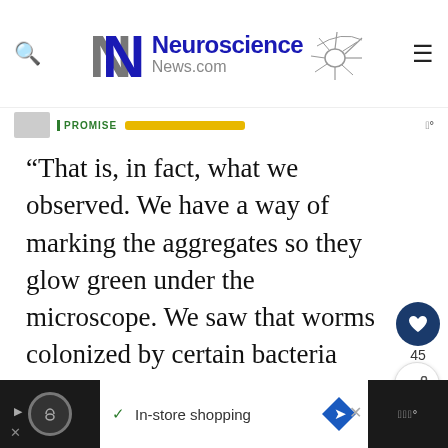Neuroscience News.com
“That is, in fact, what we observed. We have a way of marking the aggregates so they glow green under the microscope. We saw that worms colonized by certain bacteria species were lit up with aggregates that were toxic to tissues, while those colonized by the control bacteria were not,” Czyz said.
“This occurred not just in the intestinal tissues,